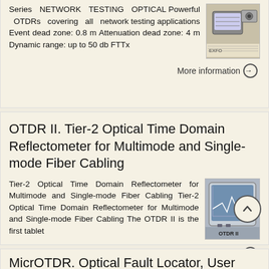Series NETWORK TESTING OPTICAL Powerful OTDRs covering all network testing applications Event dead zone: 0.8 m Attenuation dead zone: 4 m Dynamic range: up to 50 db FTTx
More information →
OTDR II. Tier-2 Optical Time Domain Reflectometer for Multimode and Single-mode Fiber Cabling
Tier-2 Optical Time Domain Reflectometer for Multimode and Single-mode Fiber Cabling Tier-2 Optical Time Domain Reflectometer for Multimode and Single-mode Fiber Cabling The OTDR II is the first tablet
More information →
MicrOTDR. Optical Fault Locator, User